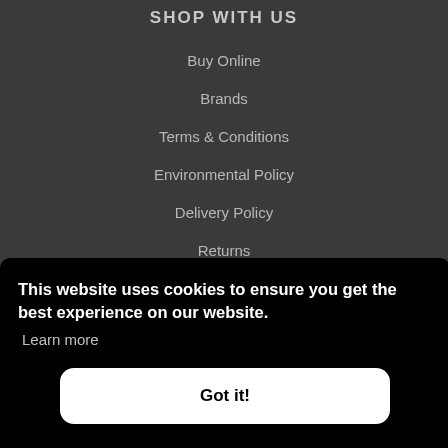SHOP WITH US
Buy Online
Brands
Terms & Conditions
Environmental Policy
Delivery Policy
Returns
Search
Sizing Charts
Bombers Bits Guide
This website uses cookies to ensure you get the best experience on our website.
Learn more
Got it!